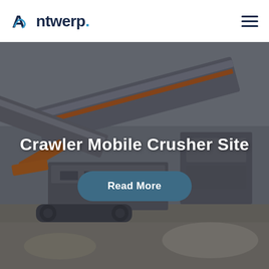Antwerp.
[Figure (photo): A crawler mobile crusher machine at a quarry/construction site, shown against a grey overcast sky. Large industrial mobile crushing equipment with conveyor belts and tracked undercarriage, surrounded by crushed stone/gravel.]
Crawler Mobile Crusher Site
Read More